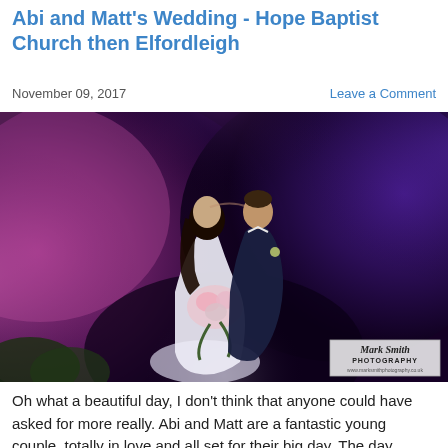Abi and Matt's Wedding - Hope Baptist Church then Elfordleigh
November 09, 2017
Leave a Comment
[Figure (photo): Wedding couple kissing against a dramatic purple and pink smoke background. The bride wears a white fitted gown and holds a bouquet of pink and white flowers. The groom wears a dark navy suit. A Mark Smith Photography watermark appears in the lower right corner.]
Oh what a beautiful day, I don't think that anyone could have asked for more really. Abi and Matt are a fantastic young couple, totally in love and all set for their big day. The day